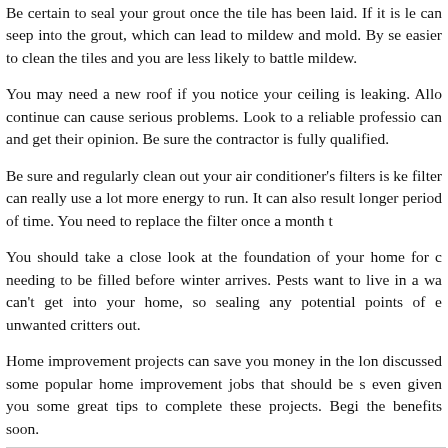Be certain to seal your grout once the tile has been laid. If it is left unsealed, moisture can seep into the grout, which can lead to mildew and mold. By sealing the grout, it is easier to clean the tiles and you are less likely to battle mildew.
You may need a new roof if you notice your ceiling is leaking. Allowing it to continue can cause serious problems. Look to a reliable professional as soon as you can and get their opinion. Be sure the contractor is fully qualified.
Be sure and regularly clean out your air conditioner's filters is key. A dirty filter can really use a lot more energy to run. It can also result in the AC running for a longer period of time. You need to replace the filter once a month to avoid buildup.
You should take a close look at the foundation of your home for cracks that may need to be filled before winter arrives. Pests want to live in a warm space and if they can't get into your home, so sealing any potential points of entry will keep unwanted critters out.
Home improvement projects can save you money in the long run. We have discussed some popular home improvement jobs that should be started soon and have even given you some great tips to complete these projects. Begin today and enjoy the benefits soon.